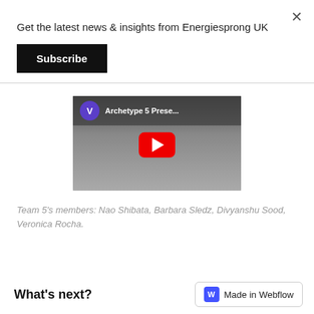Get the latest news & insights from Energiesprong UK
Subscribe
[Figure (screenshot): YouTube video thumbnail showing 'Archetype 5 Prese...' with a purple channel icon labeled 'V' and a red YouTube play button over a dark gradient background.]
Team 5's members: Nao Shibata, Barbara Sledz, Divyanshu Sood, Veronica Rocha.
What's next?
Made in Webflow